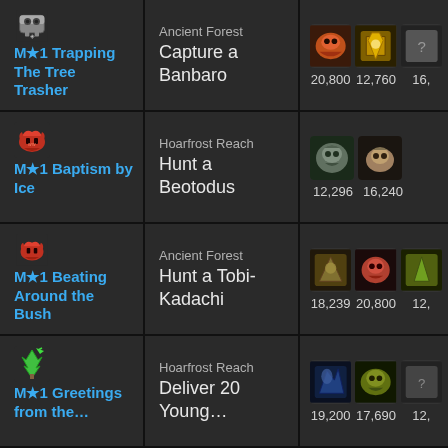M★1 Trapping The Tree Trasher | Ancient Forest | Capture a Banbaro | 20,800 | 12,760 | 16,…
M★1 Baptism by Ice | Hoarfrost Reach | Hunt a Beotodus | 12,296 | 16,240
M★1 Beating Around the Bush | Ancient Forest | Hunt a Tobi-Kadachi | 18,239 | 20,800 | 12,…
M★1 Greetings from the… | Hoarfrost Reach | Deliver 20 Young… | 19,200 | 17,690 | 12,…